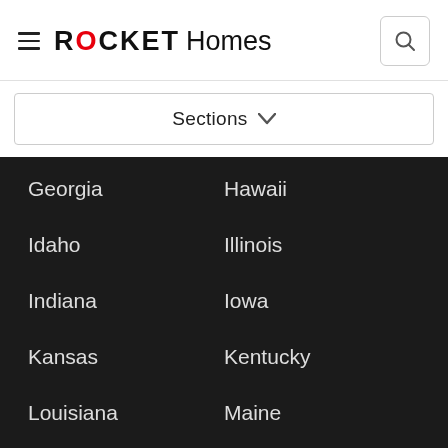ROCKET Homes
Sections
Georgia
Hawaii
Idaho
Illinois
Indiana
Iowa
Kansas
Kentucky
Louisiana
Maine
Maryland
Massachusetts
Michigan
Minnesota